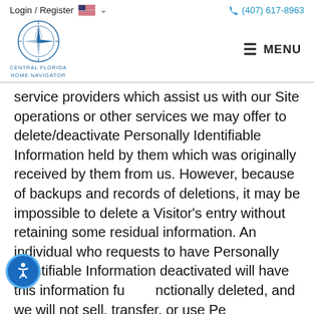Login / Register  🇺🇸 ∨    (407) 617-8963
[Figure (logo): Central Florida Home Navigator compass logo with circular icon and text below]
service providers which assist us with our Site operations or other services we may offer to delete/deactivate Personally Identifiable Information held by them which was originally received by them from us. However, because of backups and records of deletions, it may be impossible to delete a Visitor's entry without retaining some residual information. An individual who requests to have Personally Identifiable Information deactivated will have this information functionally deleted, and we will not sell, transfer, or use Personally Identifiable Information relating to that individual in any way moving forward.